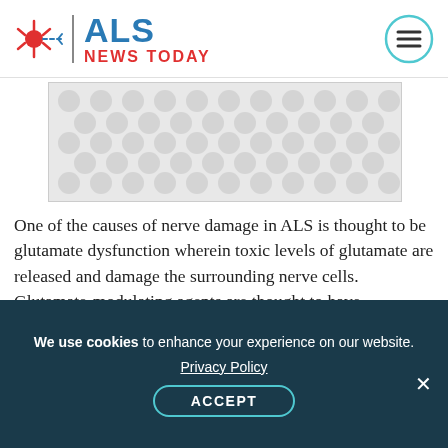ALS NEWS TODAY
[Figure (illustration): Decorative image placeholder with light grey dot/molecule pattern on white background]
One of the causes of nerve damage in ALS is thought to be glutamate dysfunction wherein toxic levels of glutamate are released and damage the surrounding nerve cells. Glutamate-modulating agents are thought to have neuroprotective properties in diseases such as ALS, as they may prevent glutamate from reaching damaging levels.
We use cookies to enhance your experience on our website. Privacy Policy ACCEPT